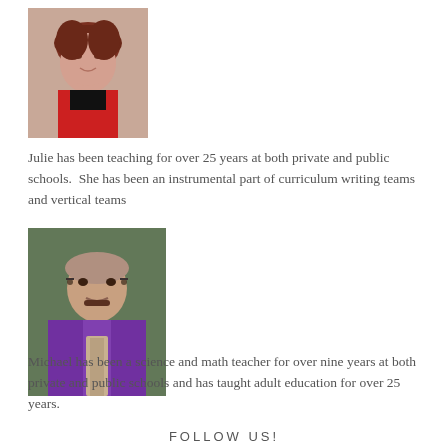[Figure (photo): Portrait photo of Julie, a woman with reddish-brown hair wearing a red top]
Julie has been teaching for over 25 years at both private and public schools.  She has been an instrumental part of curriculum writing teams and vertical teams
[Figure (photo): Portrait photo of Michael, a bald man with glasses and a mustache wearing a purple shirt and tie, standing outdoors]
Michael has been a science and math teacher for over nine years at both private and public schools and has taught adult education for over 25 years.
FOLLOW US!